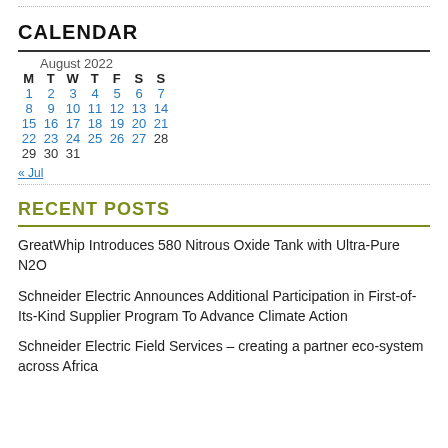CALENDAR
| M | T | W | T | F | S | S |
| --- | --- | --- | --- | --- | --- | --- |
| 1 | 2 | 3 | 4 | 5 | 6 | 7 |
| 8 | 9 | 10 | 11 | 12 | 13 | 14 |
| 15 | 16 | 17 | 18 | 19 | 20 | 21 |
| 22 | 23 | 24 | 25 | 26 | 27 | 28 |
| 29 | 30 | 31 |  |  |  |  |
« Jul
RECENT POSTS
GreatWhip Introduces 580 Nitrous Oxide Tank with Ultra-Pure N2O
Schneider Electric Announces Additional Participation in First-of-Its-Kind Supplier Program To Advance Climate Action
Schneider Electric Field Services – creating a partner eco-system across Africa